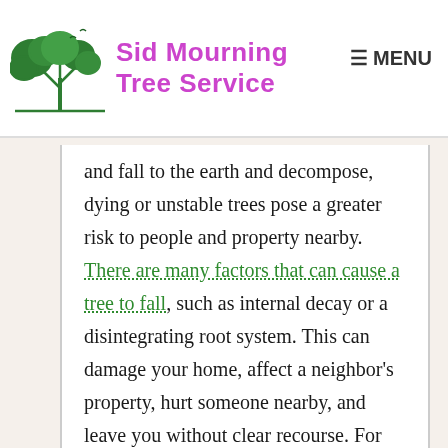Sid Mourning Tree Service | MENU
and fall to the earth and decompose, dying or unstable trees pose a greater risk to people and property nearby. There are many factors that can cause a tree to fall, such as internal decay or a disintegrating root system. This can damage your home, affect a neighbor's property, hurt someone nearby, and leave you without clear recourse. For those looking for guidance, learn these three steps of what to do when your tree falls.